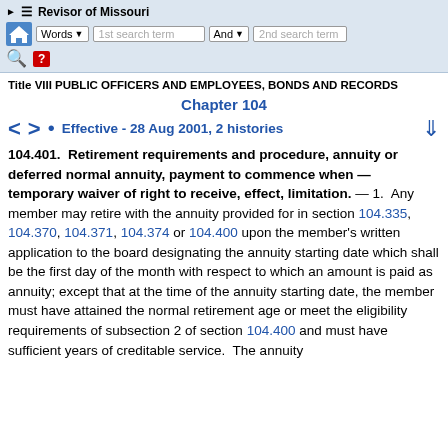Revisor of Missouri — navigation bar with search fields
Title VIII PUBLIC OFFICERS AND EMPLOYEES, BONDS AND RECORDS
Chapter 104
Effective - 28 Aug 2001, 2 histories
104.401. Retirement requirements and procedure, annuity or deferred normal annuity, payment to commence when — temporary waiver of right to receive, effect, limitation.
— 1. Any member may retire with the annuity provided for in section 104.335, 104.370, 104.371, 104.374 or 104.400 upon the member's written application to the board designating the annuity starting date which shall be the first day of the month with respect to which an amount is paid as annuity; except that at the time of the annuity starting date, the member must have attained the normal retirement age or meet the eligibility requirements of subsection 2 of section 104.400 and must have sufficient years of creditable service. The annuity